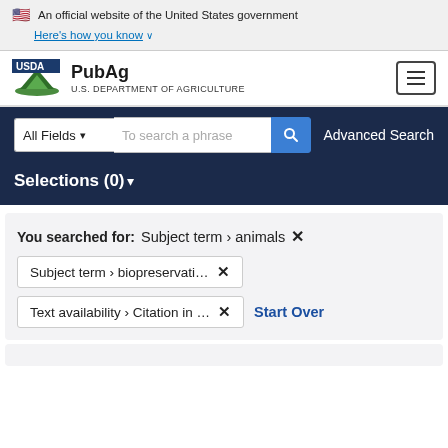🇺🇸 An official website of the United States government Here's how you know ∨
[Figure (logo): USDA PubAg logo with green mountain/field graphic and text 'USDA PubAg / U.S. DEPARTMENT OF AGRICULTURE']
[Figure (other): Hamburger menu button (three horizontal lines in a bordered rectangle)]
All Fields ∨   To search a phrase   🔍   Advanced Search
Selections (0) ▾
You searched for: Subject term › animals ✕
Subject term › biopreservati... ✕
Text availability › Citation in ... ✕   Start Over